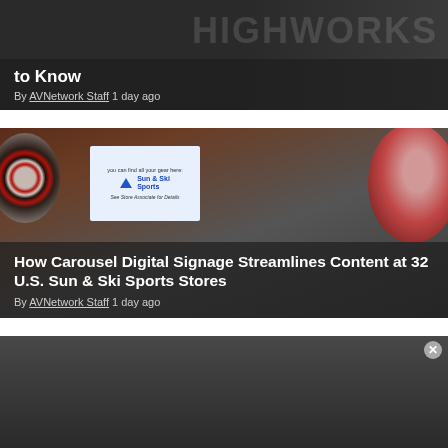[Figure (screenshot): Dark card with HIGHWORKS watermark logo in background]
to Know
By AVNetwork Staff 1 day ago
[Figure (screenshot): Sports store interior with Sun & Ski Sports digital signage screen and WOW inflatable product]
How Carousel Digital Signage Streamlines Content at 32 U.S. Sun & Ski Sports Stores
By AVNetwork Staff 1 day ago
[Figure (screenshot): Dark card showing bottom portion of a third article card with a close/X button overlay]